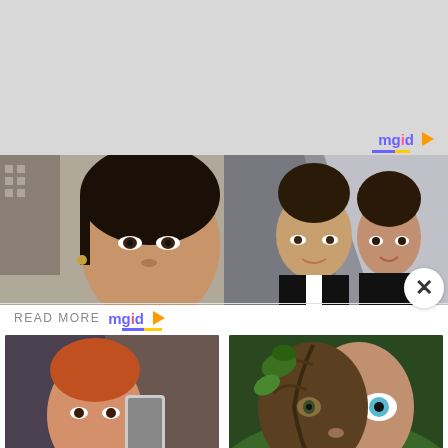[Figure (other): Gray placeholder/ad area at top of page]
[Figure (other): MGID logo top right with blue-purple text and orange play icon]
[Figure (photo): Close-up photo of a woman's face with city buildings in background]
[Figure (photo): Photo of a man and woman smiling at a formal event]
READ MORE
[Figure (logo): MGID logo with blue-purple text and orange play icon with yellow-blue underline]
[Figure (photo): Woman taking a selfie in gym wear]
Want To Train Like Jennifer Lopez? See Her Workout Secrets
[Figure (photo): Digital art of a half-human half-tree face with blue eye]
6 Lies You Should Stop Telling Yourself Right Now